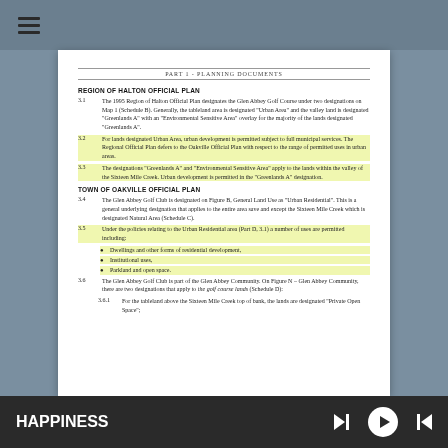PART 1 - PLANNING DOCUMENTS
REGION OF HALTON OFFICIAL PLAN
3.1 The 1995 Region of Halton Official Plan designates the Glen Abbey Golf Course under two designations on Map 1 (Schedule B). Generally, the tableland area is designated "Urban Area" and the valley land is designated "Greenlands A" with an "Environmental Sensitive Area" overlay for the majority of the lands designated "Greenlands A".
3.2 For lands designated Urban Area, urban development is permitted subject to full municipal services. The Regional Official Plan defers to the Oakville Official Plan with respect to the range of permitted uses in urban areas.
3.3 The designations "Greenlands A" and "Environmental Sensitive Area" apply to the lands within the valley of the Sixteen Mile Creek. Urban development is permitted in the "Greenlands A" designation.
TOWN OF OAKVILLE OFFICIAL PLAN
3.4 The Glen Abbey Golf Club is designated on Figure B, General Land Use as "Urban Residential". This is a general underlying designation that applies to the entire area save and except the Sixteen Mile Creek which is designated Natural Area (Schedule C).
3.5 Under the policies relating to the Urban Residential area (Part D, 3.1) a number of uses are permitted including:
Dwellings and other forms of residential development,
Institutional uses,
Parkland and open space.
3.6 The Glen Abbey Golf Club is part of the Glen Abbey Community. On Figure N – Glen Abbey Community, there are two designations that apply to the golf course lands (Schedule D):
3.6.1 For the tableland above the Sixteen Mile Creek top of bank, the lands are designated "Private Open Space";